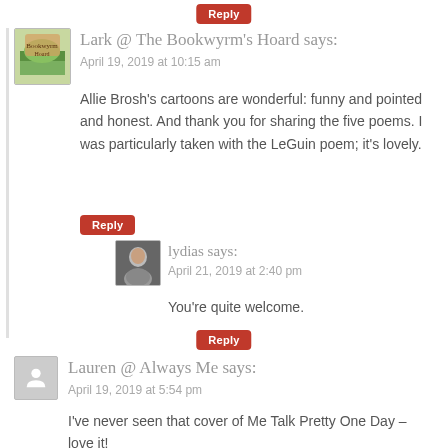[Figure (other): Reply button at top center]
Lark @ The Bookwyrm's Hoard says:
April 19, 2019 at 10:15 am
Allie Brosh’s cartoons are wonderful: funny and pointed and honest. And thank you for sharing the five poems. I was particularly taken with the LeGuin poem; it’s lovely.
[Figure (other): Reply button]
[Figure (photo): Avatar photo of lydias]
lydias says:
April 21, 2019 at 2:40 pm
You’re quite welcome.
[Figure (other): Reply button]
[Figure (other): Avatar placeholder for Lauren]
Lauren @ Always Me says:
April 19, 2019 at 5:54 pm
I’ve never seen that cover of Me Talk Pretty One Day – love it!